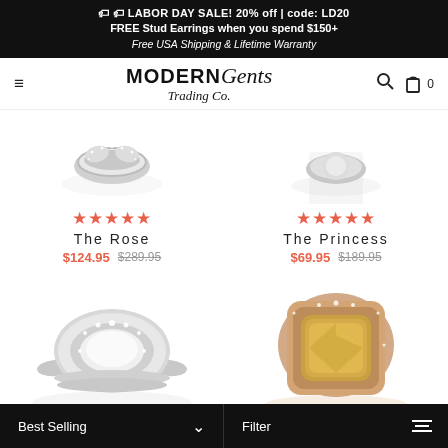🏷️🏷️ LABOR DAY SALE! 20% off | code: LD20
FREE Stud Earrings when you spend $150+
Free USA Shipping & Lifetime Warranty
[Figure (logo): Modern Gents Trading Co. logo with hamburger menu, search icon, and cart icon with 0 items]
[Figure (photo): Silver pave diamond band ring, partially visible at top]
[Figure (photo): Product image area for The Princess ring, partially visible]
★★★★★
The Rose
$124.95  $289.95
★★★★★
The Princess
$69.95  $189.95
[Figure (photo): Silver halo ring with large oval white stone surrounded by pavé diamonds, double band]
[Figure (photo): Rose gold halo ring with large cushion-cut champagne/morganite stone surrounded by pavé diamonds]
Best Selling  ∨     Filter  ☰